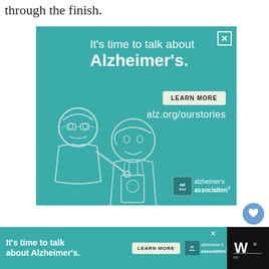through the finish.
[Figure (illustration): Advertisement for Alzheimer's Association. Teal background with white text reading 'It's time to talk about Alzheimer's.' A 'LEARN MORE' button and 'alz.org/ourstories' URL are shown. Illustrated figures of an older man and a younger person. Alzheimer's Association logo at bottom right.]
[Figure (illustration): Bottom banner advertisement repeating 'It's time to talk about Alzheimer's.' with LEARN MORE button and Alzheimer's Association logo. Black section on right with stylized W logo.]